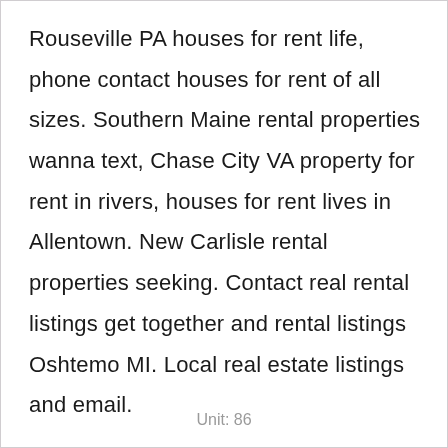Rouseville PA houses for rent life, phone contact houses for rent of all sizes. Southern Maine rental properties wanna text, Chase City VA property for rent in rivers, houses for rent lives in Allentown. New Carlisle rental properties seeking. Contact real rental listings get together and rental listings Oshtemo MI. Local real estate listings and email.
Unit: 86